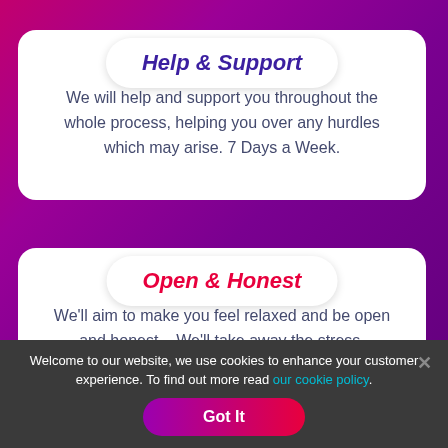Help & Support
We will help and support you throughout the whole process, helping you over any hurdles which may arise. 7 Days a Week.
Open & Honest
We'll aim to make you feel relaxed and be open and honest – We'll take away the stress.
Welcome to our website, we use cookies to enhance your customer experience. To find out more read our cookie policy.